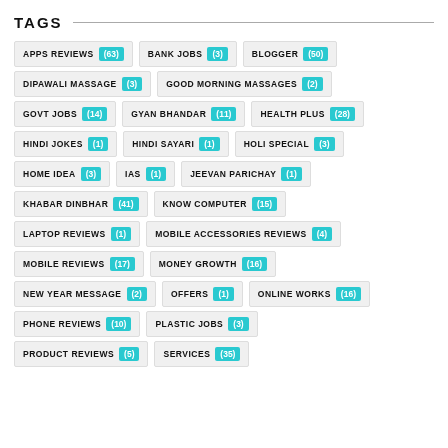TAGS
APPS REVIEWS (63)
BANK JOBS (3)
BLOGGER (50)
DIPAWALI MASSAGE (3)
GOOD MORNING MASSAGES (2)
GOVT JOBS (14)
GYAN BHANDAR (11)
HEALTH PLUS (28)
HINDI JOKES (1)
HINDI SAYARI (1)
HOLI SPECIAL (3)
HOME IDEA (3)
IAS (1)
JEEVAN PARICHAY (1)
KHABAR DINBHAR (41)
KNOW COMPUTER (15)
LAPTOP REVIEWS (1)
MOBILE ACCESSORIES REVIEWS (4)
MOBILE REVIEWS (17)
MONEY GROWTH (16)
NEW YEAR MESSAGE (2)
OFFERS (1)
ONLINE WORKS (16)
PHONE REVIEWS (10)
PLASTIC JOBS (3)
PRODUCT REVIEWS (5)
SERVICES (35)